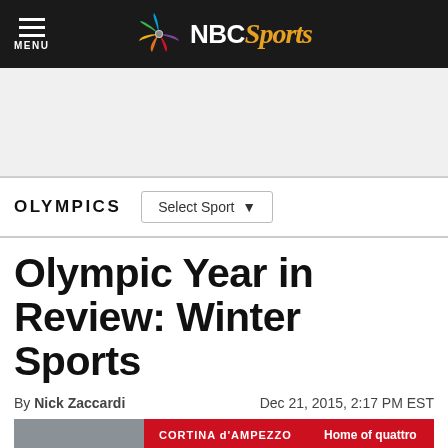NBC Sports
OLYMPICS
Olympic Year in Review: Winter Sports
By Nick Zaccardi · Dec 21, 2015, 2:17 PM EST
[Figure (photo): Athletes on a podium at Audi FIS Ski World Cup in Cortina d'Ampezzo, Home of quattro, with Audi logos in background.]